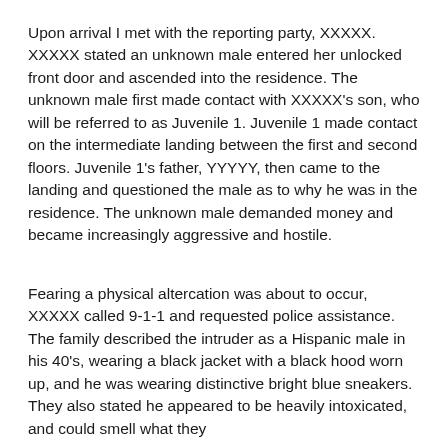Upon arrival I met with the reporting party, XXXXX. XXXXX stated an unknown male entered her unlocked front door and ascended into the residence. The unknown male first made contact with XXXXX's son, who will be referred to as Juvenile 1. Juvenile 1 made contact on the intermediate landing between the first and second floors. Juvenile 1's father, YYYYY, then came to the landing and questioned the male as to why he was in the residence. The unknown male demanded money and became increasingly aggressive and hostile.
Fearing a physical altercation was about to occur, XXXXX called 9-1-1 and requested police assistance. The family described the intruder as a Hispanic male in his 40's, wearing a black jacket with a black hood worn up, and he was wearing distinctive bright blue sneakers. They also stated he appeared to be heavily intoxicated, and could smell what they